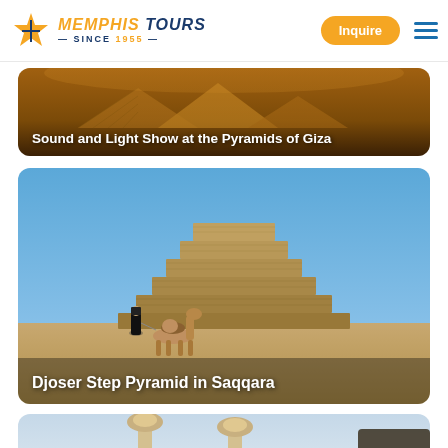Memphis Tours — Since 1955 | Inquire
[Figure (photo): Sound and Light Show at the Pyramids of Giza – aerial/night view of the Giza pyramid complex lit in golden hues]
Sound and Light Show at the Pyramids of Giza
[Figure (photo): Djoser Step Pyramid in Saqqara – a stepped stone pyramid under clear blue sky with a person in black robe and a camel in the foreground]
Djoser Step Pyramid in Saqqara
[Figure (photo): Partial view of a third tour destination card showing decorative stone or lamp post elements]